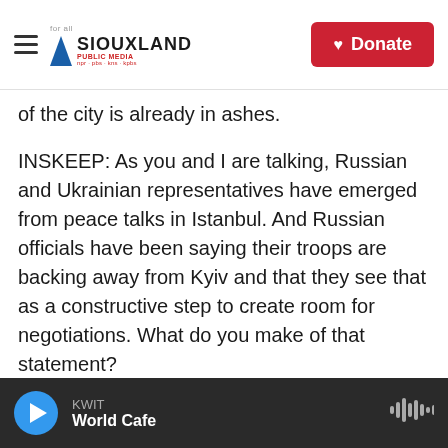Siouxland Public Media | Donate
of the city is already in ashes.
INSKEEP: As you and I are talking, Russian and Ukrainian representatives have emerged from peace talks in Istanbul. And Russian officials have been saying their troops are backing away from Kyiv and that they see that as a constructive step to create room for negotiations. What do you make of that statement?
RADINA: We are in war with Russia actually from 2014, when Russia first invaded and occupied Crimea, and then when Russia-supported terrorist
KWIT | World Cafe